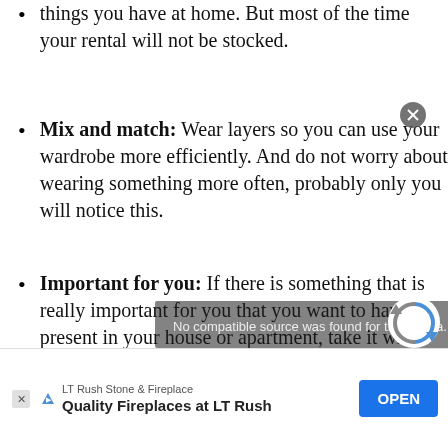things you have at home. But most of the time your rental will not be stocked.
Mix and match: Wear layers so you can use your wardrobe more efficiently. And do not worry about wearing something more often, probably only you will notice this.
Important for you: If there is something that is really important for you that you want to have present in your house or apartment, take it with you. This can be something like a special knife for the kitchen, or a small mirror that you use in the morning. You can also purchase it locally if it is not that expensive.